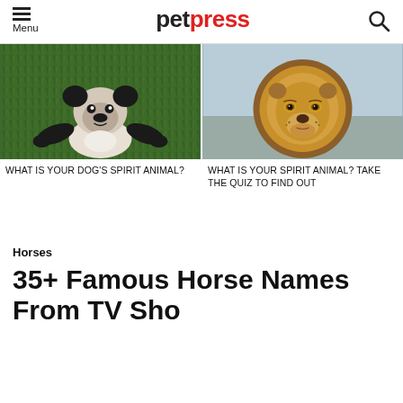petpress
[Figure (photo): Pug dog lying on green grass with arms spread out, viewed from above]
WHAT IS YOUR DOG'S SPIRIT ANIMAL?
[Figure (photo): Majestic lion with full mane, close-up portrait against blurred background]
WHAT IS YOUR SPIRIT ANIMAL? TAKE THE QUIZ TO FIND OUT
Horses
35+ Famous Horse Names From TV Sho...